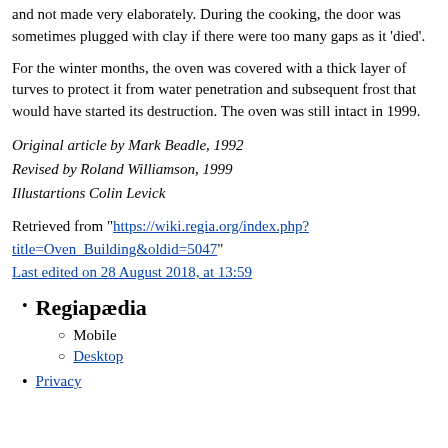and not made very elaborately. During the cooking, the door was sometimes plugged with clay if there were too many gaps as it 'died'.
For the winter months, the oven was covered with a thick layer of turves to protect it from water penetration and subsequent frost that would have started its destruction. The oven was still intact in 1999.
Original article by Mark Beadle, 1992
Revised by Roland Williamson, 1999
Illustartions Colin Levick
Retrieved from "https://wiki.regia.org/index.php?title=Oven_Building&oldid=5047"
Last edited on 28 August 2018, at 13:59
Regiapædia
Mobile
Desktop
Privacy